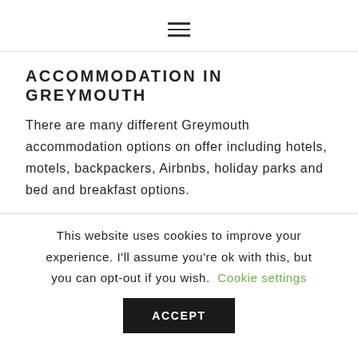≡
ACCOMMODATION IN GREYMOUTH
There are many different Greymouth accommodation options on offer including hotels, motels, backpackers, Airbnbs, holiday parks and bed and breakfast options.
This website uses cookies to improve your experience. I'll assume you're ok with this, but you can opt-out if you wish. Cookie settings
ACCEPT